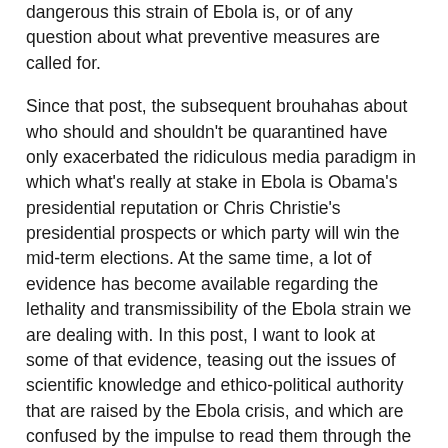dangerous this strain of Ebola is, or of any question about what preventive measures are called for.
Since that post, the subsequent brouhahas about who should and shouldn't be quarantined have only exacerbated the ridiculous media paradigm in which what's really at stake in Ebola is Obama's presidential reputation or Chris Christie's presidential prospects or which party will win the mid-term elections. At the same time, a lot of evidence has become available regarding the lethality and transmissibility of the Ebola strain we are dealing with. In this post, I want to look at some of that evidence, teasing out the issues of scientific knowledge and ethico-political authority that are raised by the Ebola crisis, and which are confused by the impulse to read them through the lens of American liberal/conservative categories, with which they have nothing to do.
Superbug
How lethal and how transmissible is the current (Zaire) strain